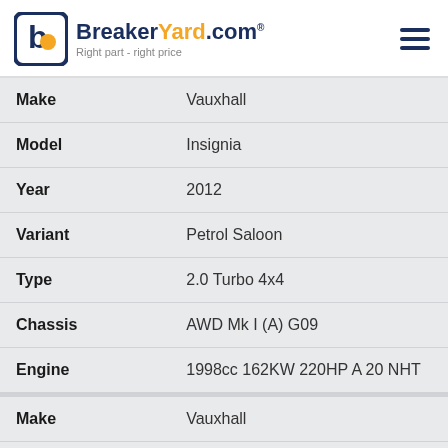BreakerYard.com - Right part - right price
| Field | Value |
| --- | --- |
| Make | Vauxhall |
| Model | Insignia |
| Year | 2012 |
| Variant | Petrol Saloon |
| Type | 2.0 Turbo 4x4 |
| Chassis | AWD Mk I (A) G09 |
| Engine | 1998cc 162KW 220HP A 20 NHT |
| Field | Value |
| --- | --- |
| Make | Vauxhall |
| Model | Insignia |
| Year | 2012 |